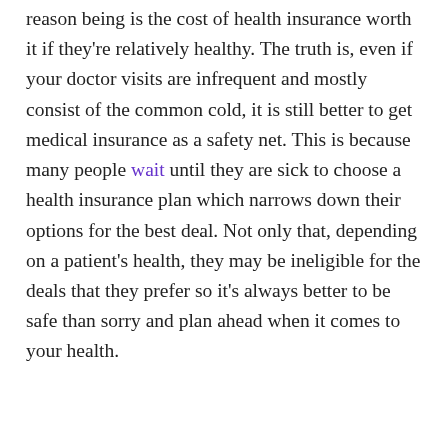reason being is the cost of health insurance worth it if they're relatively healthy. The truth is, even if your doctor visits are infrequent and mostly consist of the common cold, it is still better to get medical insurance as a safety net. This is because many people wait until they are sick to choose a health insurance plan which narrows down their options for the best deal. Not only that, depending on a patient's health, they may be ineligible for the deals that they prefer so it's always better to be safe than sorry and plan ahead when it comes to your health.